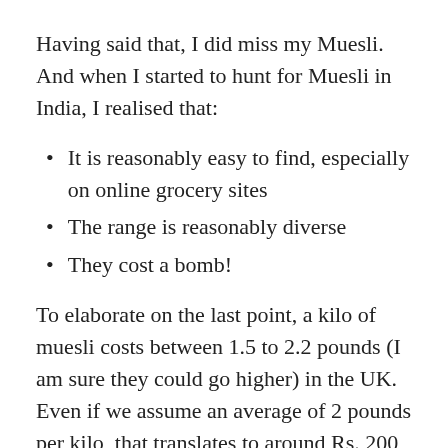Having said that, I did miss my Muesli. And when I started to hunt for Muesli in India, I realised that:
It is reasonably easy to find, especially on online grocery sites
The range is reasonably diverse
They cost a bomb!
To elaborate on the last point, a kilo of muesli costs between 1.5 to 2.2 pounds (I am sure they could go higher) in the UK. Even if we assume an average of 2 pounds per kilo, that translates to around Rs. 200 per kilo.
The typical price in India for a kilo of Muesli